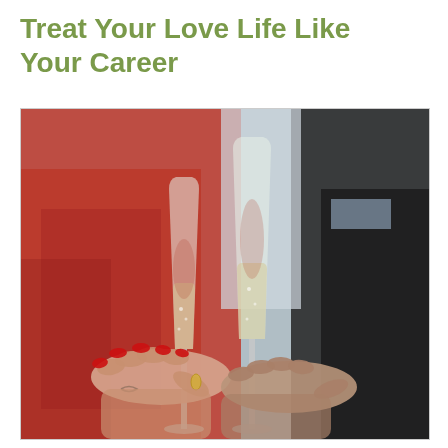Treat Your Love Life Like Your Career
[Figure (photo): Close-up photo of two people clinking champagne flutes. On the left, a person wearing a red outfit with red nail polish holds one glass. On the right, a person in a dark suit holds the other glass. The background is blurred.]